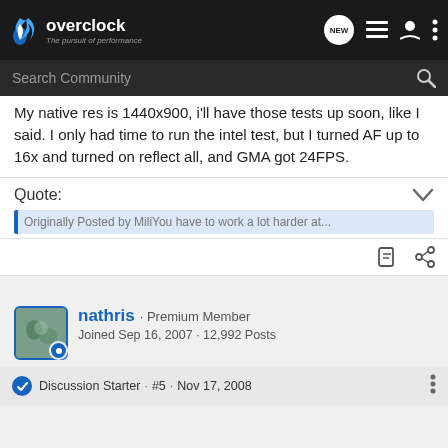overclock - The pursuit of performance
My native res is 1440x900, i'll have those tests up soon, like I said. I only had time to run the intel test, but I turned AF up to 16x and turned on reflect all, and GMA got 24FPS.
Quote:
Originally Posted by MiliYou have to work a lot harder at...
nathris · Premium Member
Joined Sep 16, 2007 · 12,992 Posts
Discussion Starter · #5 · Nov 17, 2008